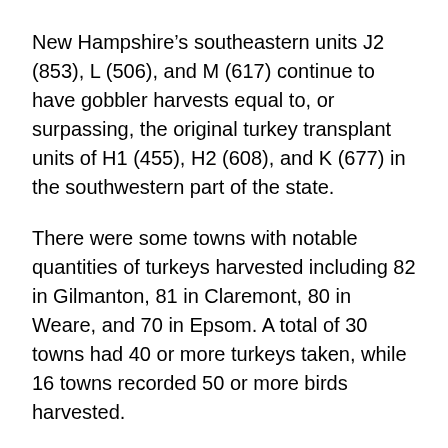New Hampshire's southeastern units J2 (853), L (506), and M (617) continue to have gobbler harvests equal to, or surpassing, the original turkey transplant units of H1 (455), H2 (608), and K (677) in the southwestern part of the state.
There were some towns with notable quantities of turkeys harvested including 82 in Gilmanton, 81 in Claremont, 80 in Weare, and 70 in Epsom. A total of 30 towns had 40 or more turkeys taken, while 16 towns recorded 50 or more birds harvested.
Most turkey eggs typically hatch from late May to mid-June. NH Fish and Game is again asking for the public's help in monitoring observations of turkey broods